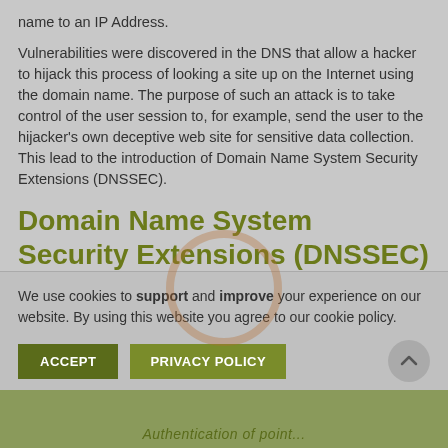name to an IP Address.
Vulnerabilities were discovered in the DNS that allow a hacker to hijack this process of looking a site up on the Internet using the domain name. The purpose of such an attack is to take control of the user session to, for example, send the user to the hijacker's own deceptive web site for sensitive data collection. This lead to the introduction of Domain Name System Security Extensions (DNSSEC).
Domain Name System Security Extensions (DNSSEC)
Domain Name System Security Extensions (DNSSEC) is a technology developed to protect against malicious activities like cache poisoning, pharming, and man-in-the-middle
We use cookies to support and improve your experience on our website. By using this website you agree to our cookie policy.
ACCEPT   PRIVACY POLICY
Authentication of point...